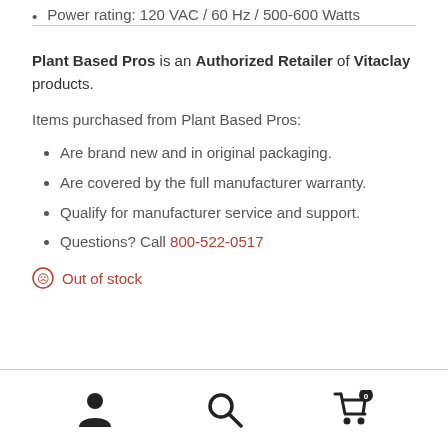Power rating: 120 VAC / 60 Hz / 500-600 Watts
Plant Based Pros is an Authorized Retailer of Vitaclay products.
Items purchased from Plant Based Pros:
Are brand new and in original packaging.
Are covered by the full manufacturer warranty.
Qualify for manufacturer service and support.
Questions? Call 800-522-0517
Out of stock
[Figure (other): Bottom navigation bar with person/account icon, search icon, and shopping cart icon with badge showing 0]